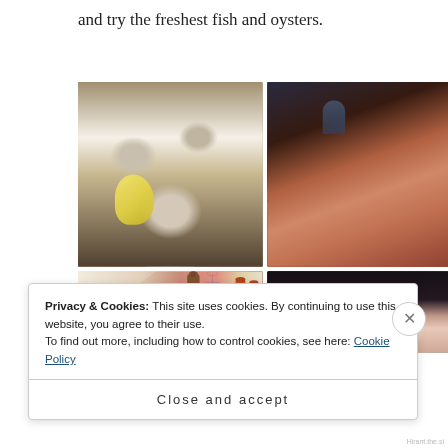and try the freshest fish and oysters.
[Figure (photo): Four food/market photos arranged in a 2x2 grid: top-left shows oysters on a plate with lemon and seaweed, top-right shows a busy fish market counter with colorful seafood on display, bottom-left shows a bar table with bottles and pepper mills, bottom-right shows a plate of seafood including oysters and lemon.]
Privacy & Cookies: This site uses cookies. By continuing to use this website, you agree to their use.
To find out more, including how to control cookies, see here: Cookie Policy
Close and accept